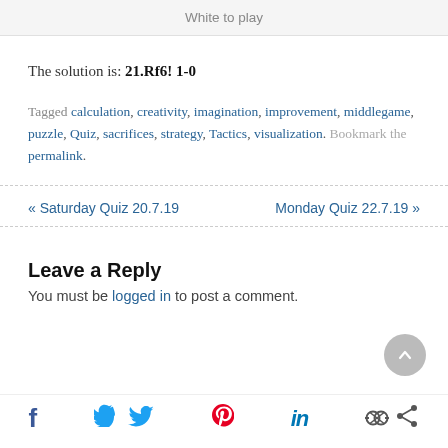White to play
The solution is: 21.Rf6! 1-0
Tagged calculation, creativity, imagination, improvement, middlegame, puzzle, Quiz, sacrifices, strategy, Tactics, visualization. Bookmark the permalink.
« Saturday Quiz 20.7.19   Monday Quiz 22.7.19 »
Leave a Reply
You must be logged in to post a comment.